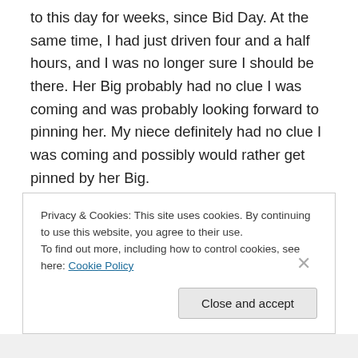to this day for weeks, since Bid Day. At the same time, I had just driven four and a half hours, and I was no longer sure I should be there. Her Big probably had no clue I was coming and was probably looking forward to pinning her. My niece definitely had no clue I was coming and possibly would rather get pinned by her Big.

Judging by the look on her Big's face when she saw me trying to get into place, I knew I was right. She wasn't expecting me. She was gracious about it, however, and conceded her spot to me. I felt terrible, though. She looked
Privacy & Cookies: This site uses cookies. By continuing to use this website, you agree to their use.
To find out more, including how to control cookies, see here: Cookie Policy